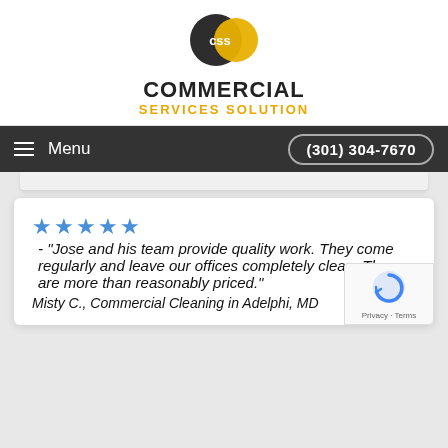[Figure (logo): CSS Commercial Services Solution logo — overlapping dark grey and yellow circles with 'CSS' text, followed by 'COMMERCIAL' in bold black and 'SERVICES SOLUTION' in gold/yellow]
≡ Menu    (301) 304-7670
★★★★★ - "Jose and his team provide quality work. They come regularly and leave our offices completely clean. They are more than reasonably priced."
Misty C., Commercial Cleaning in Adelphi, MD